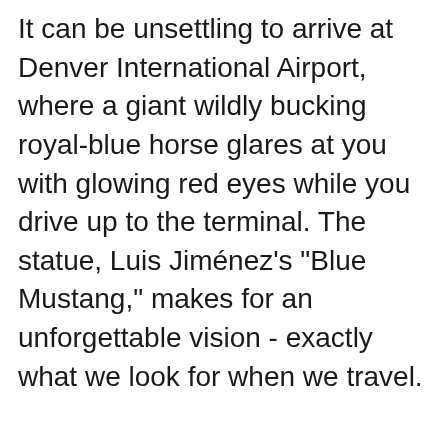It can be unsettling to arrive at Denver International Airport, where a giant wildly bucking royal-blue horse glares at you with glowing red eyes while you drive up to the terminal. The statue, Luis Jiménez's "Blue Mustang," makes for an unforgettable vision - exactly what we look for when we travel.